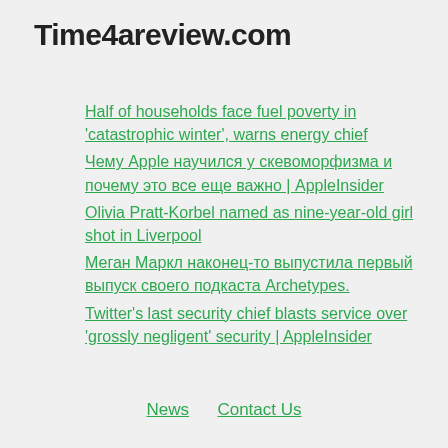Time4areview.com
Half of households face fuel poverty in ‘catastrophic winter’, warns energy chief
Чему Apple научился у скевоморфизма и почему это все еще важно | AppleInsider
Olivia Pratt-Korbel named as nine-year-old girl shot in Liverpool
Меган Маркл наконец-то выпустила первый выпуск своего подкаста Archetypes.
Twitter’s last security chief blasts service over ‘grossly negligent’ security | AppleInsider
News   Contact Us